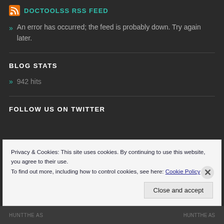DOCTOOLSS RSS FEED
An error has occurred; the feed is probably down. Try again later.
BLOG STATS
942 hits
FOLLOW US ON TWITTER
Privacy & Cookies: This site uses cookies. By continuing to use this website, you agree to their use. To find out more, including how to control cookies, see here: Cookie Policy
Close and accept